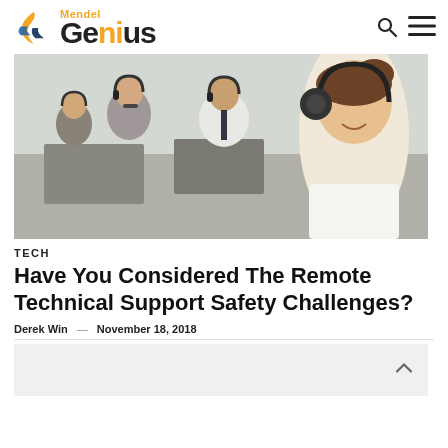Mendel Genius
[Figure (photo): Call center workers wearing headsets, working at computers in an office environment. Multiple people visible, smiling, professional setting.]
TECH
Have You Considered The Remote Technical Support Safety Challenges?
Derek Win — November 18, 2018